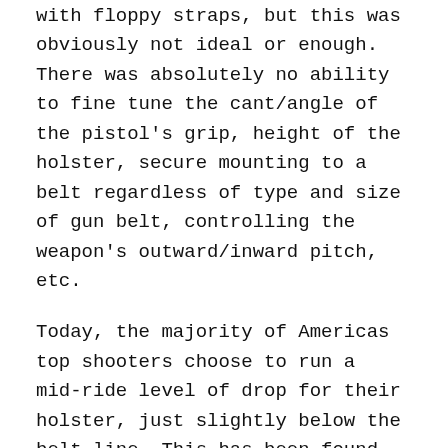with floppy straps, but this was obviously not ideal or enough. There was absolutely no ability to fine tune the cant/angle of the pistol's grip, height of the holster, secure mounting to a belt regardless of type and size of gun belt, controlling the weapon's outward/inward pitch, etc.
Today, the majority of Americas top shooters choose to run a mid-ride level of drop for their holster, just slightly below the belt line. This has been found to be the ideal location for the pistol to clear modern body armor and vest mounted pouches, something the cowboys never even considered. And although some shooters have turned away with leg straps completely, there are still many that prefer the added stability and